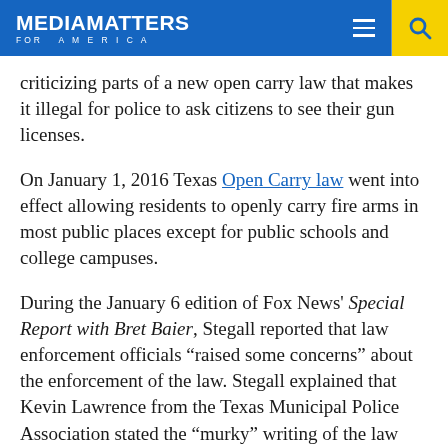MEDIA MATTERS FOR AMERICA
criticizing parts of a new open carry law that makes it illegal for police to ask citizens to see their gun licenses.
On January 1, 2016 Texas Open Carry law went into effect allowing residents to openly carry fire arms in most public places except for public schools and college campuses.
During the January 6 edition of Fox News' Special Report with Bret Baier, Stegall reported that law enforcement officials “raised some concerns” about the enforcement of the law. Stegall explained that Kevin Lawrence from the Texas Municipal Police Association stated the “murky” writing of the law caused police to be “unable to ask for a license,” preventing police from knowing “who is packing heat legally.” Lawrence also claimed police faced “uncertainty” when it came to “what authorities the officers have.”